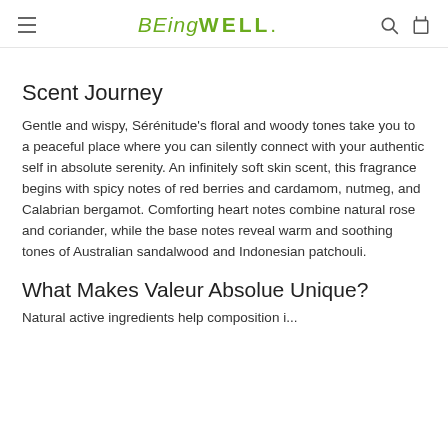BEingWELL
Scent Journey
Gentle and wispy, Sérénitude's floral and woody tones take you to a peaceful place where you can silently connect with your authentic self in absolute serenity. An infinitely soft skin scent, this fragrance begins with spicy notes of red berries and cardamom, nutmeg, and Calabrian bergamot. Comforting heart notes combine natural rose and coriander, while the base notes reveal warm and soothing tones of Australian sandalwood and Indonesian patchouli.
What Makes Valeur Absolue Unique?
Natural active ingredients help composition...